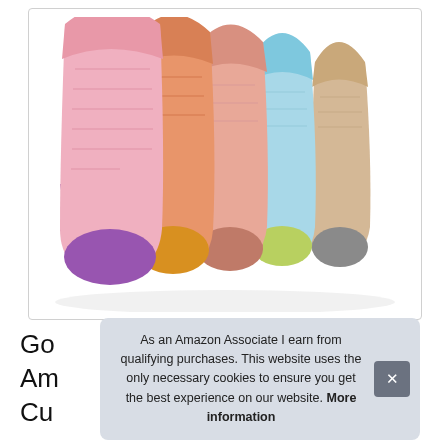[Figure (photo): Five colorful no-show/liner socks arranged in a fan display on a white background. Colors include pink/purple, orange, salmon/pink, light blue/yellow, and beige/gray with contrasting toe and heel sections.]
Go
Am
Cu
As an Amazon Associate I earn from qualifying purchases. This website uses the only necessary cookies to ensure you get the best experience on our website. More information